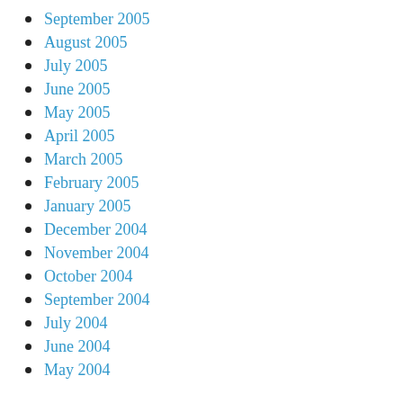September 2005
August 2005
July 2005
June 2005
May 2005
April 2005
March 2005
February 2005
January 2005
December 2004
November 2004
October 2004
September 2004
July 2004
June 2004
May 2004